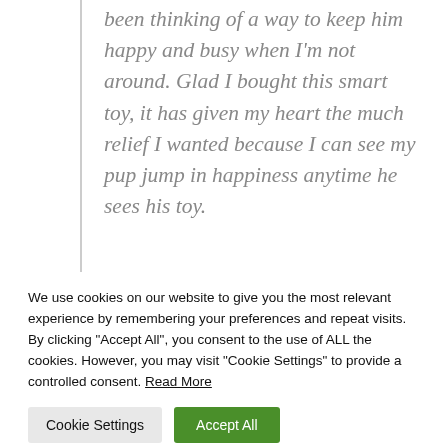been thinking of a way to keep him happy and busy when I'm not around. Glad I bought this smart toy, it has given my heart the much relief I wanted because I can see my pup jump in happiness anytime he sees his toy.
We use cookies on our website to give you the most relevant experience by remembering your preferences and repeat visits. By clicking "Accept All", you consent to the use of ALL the cookies. However, you may visit "Cookie Settings" to provide a controlled consent. Read More